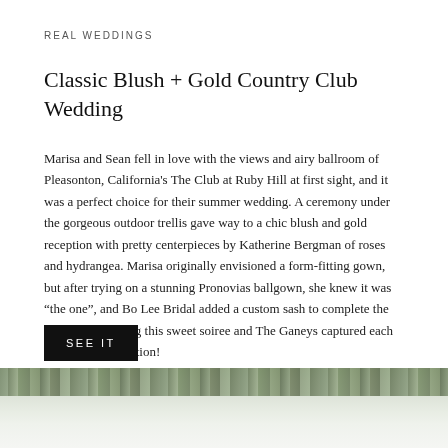REAL WEDDINGS
Classic Blush + Gold Country Club Wedding
Marisa and Sean fell in love with the views and airy ballroom of Pleasonton, California's The Club at Ruby Hill at first sight, and it was a perfect choice for their summer wedding. A ceremony under the gorgeous outdoor trellis gave way to a chic blush and gold reception with pretty centerpieces by Katherine Bergman of roses and hydrangea. Marisa originally envisioned a form-fitting gown, but after trying on a stunning Pronovias ballgown, she knew it was “the one”, and Bo Lee Bridal added a custom sash to complete the look. We’re loving this sweet soiree and The Ganeys captured each moment to perfection!
SEE IT
[Figure (photo): Bottom strip showing a blurred outdoor wedding photo with greenery and light tones]